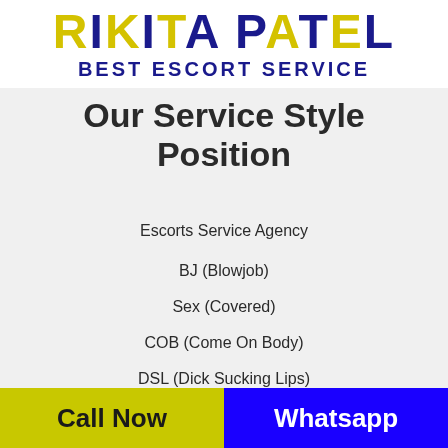RIKITA PATEL BEST ESCORT SERVICE
Our Service Style Position
Escorts Service Agency
BJ (Blowjob)
Sex (Covered)
COB (Come On Body)
DSL (Dick Sucking Lips)
Call Now   Whatsapp